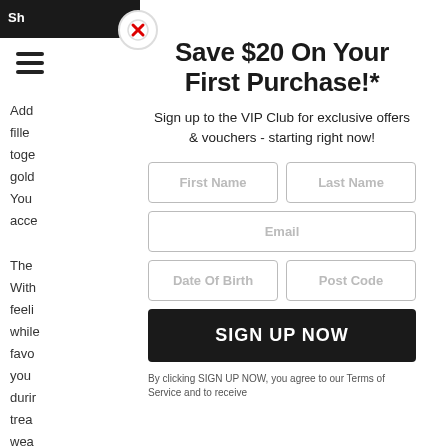Save $20 On Your First Purchase!*
Sign up to the VIP Club for exclusive offers & vouchers - starting right now!
First Name | Last Name | Email | Date Of Birth | Post Code
SIGN UP NOW
By clicking SIGN UP NOW, you agree to our Terms of Service and to receive